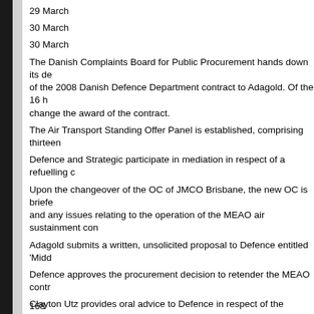29 March
30 March
30 March
The Danish Complaints Board for Public Procurement hands down its decision in respect of the 2008 Danish Defence Department contract to Adagold. Of the 16 h… change the award of the contract.
The Air Transport Standing Offer Panel is established, comprising thirteen…
Defence and Strategic participate in mediation in respect of a refuelling c…
Upon the changeover of the OC of JMCO Brisbane, the new OC is briefed… and any issues relating to the operation of the MEAO air sustainment con…
Adagold submits a written, unsolicited proposal to Defence entitled 'Midd…
Defence approves the procurement decision to retender the MEAO contr…
Clayton Utz provides oral advice to Defence in respect of the appointmen… not to appoint a probity advisor.
Defence approves the request for tender (RFT) for the 2010 MEAO contr…
Defence approves procurement strategy for the retender of air sustainme…
Defence approves the tender evaluation plan (TEP).
The RFT is issued to standing offer panel members.
Major Charlton verbally declares a potential conflict of interest in his role… tender responses of three standing offer panel members one of whom is…
Mr Shaun Aisen, the Executive Director of Strategic corresponds with
168